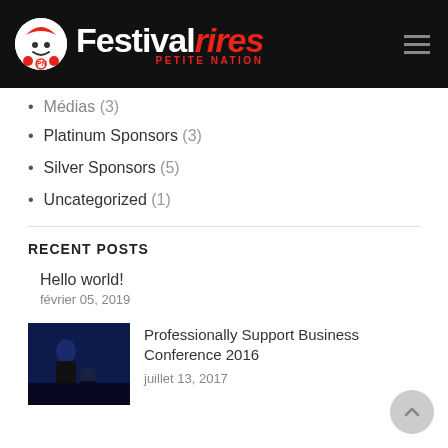Festival rires PETITE NATION
Médias (?) (truncated)
Platinum Sponsors (3)
Silver Sponsors (5)
Uncategorized (1)
RECENT POSTS
Hello world!
février 05, 2019
[Figure (photo): Person sitting at a table, dark background]
Professionally Support Business Conference 2016
juillet 13, 2017